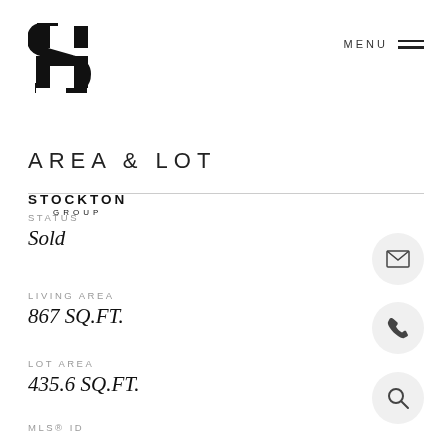[Figure (logo): Stockton Group logo with stylized S letterform in black, company name STOCKTON GROUP below]
AREA & LOT
STATUS
Sold
LIVING AREA
867 SQ.FT.
LOT AREA
435.6 SQ.FT.
MLS® ID